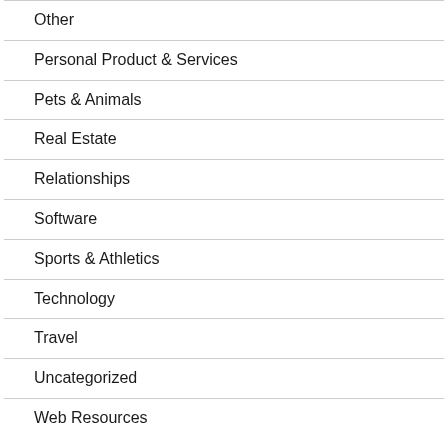Other
Personal Product & Services
Pets & Animals
Real Estate
Relationships
Software
Sports & Athletics
Technology
Travel
Uncategorized
Web Resources